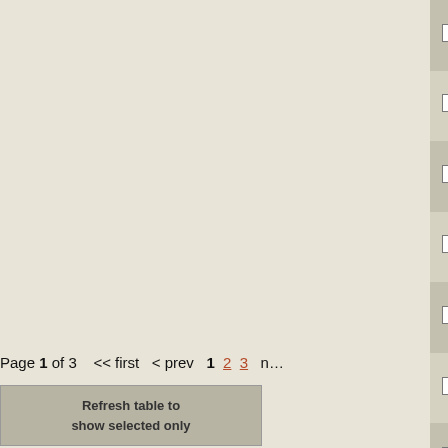|  | Genome | Gene | Description |
| --- | --- | --- | --- |
| ☐ | NC_008527 | LACR_0134 | XRE fa… transcri… regula… |
| ☐ | NC_010676 | Bphyt_5030 | transcri… regula… XRE fa… |
| ☐ | NC_009012 | Cthe_0364 | XRE fa… transcri… regula… |
| ☐ | NC_009901 | Spea_0138 | XRE fa… transcri… regula… |
| ☐ | NC_009656 | PSPA7_1025 | putative… transcri… regula… |
| ☐ | NC_011773 | BCAH820_4414 | immuni… repress… protein |
| ☐ | NC_010320 | Teth514_0702 | XRE fa… transcri… regula… |
Page 1 of 3   << first  < prev  1  2  3  n…
Refresh table to show selected only
Comments and Suggestions: rotem.sorek@weizmann.ac.il